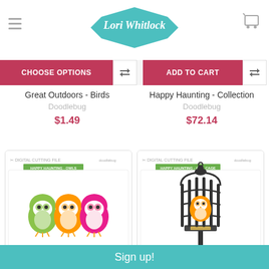Lori Whitlock
CHOOSE OPTIONS
ADD TO CART
Great Outdoors - Birds
Doodlebug
$1.49
Happy Haunting - Collection
Doodlebug
$72.14
[Figure (illustration): Digital cutting file product card showing three cartoon owls (green, orange, pink) with label HAPPY HAUNTING - OWLS]
[Figure (illustration): Digital cutting file product card showing a bird cage on a stand with an owl inside, label HAPPY HAUNTING - OWL CAGE]
Sign up!